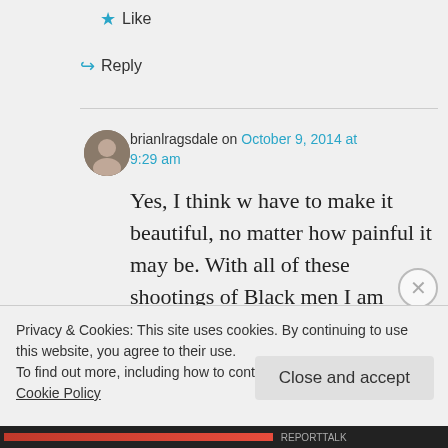Like
Reply
brianlragsdale on October 9, 2014 at 9:29 am
Yes, I think w have to make it beautiful, no matter how painful it may be. With all of these shootings of Black men I am hoping that some
Privacy & Cookies: This site uses cookies. By continuing to use this website, you agree to their use.
To find out more, including how to control cookies, see here: Cookie Policy
Close and accept